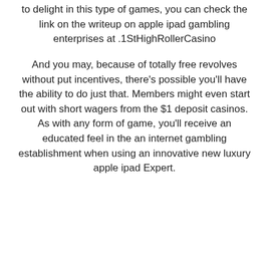to delight in this type of games, you can check the link on the writeup on apple ipad gambling enterprises at ‎1StHighRollerCasino.
And you may, because of totally free revolves without put incentives, there's possible you'll have the ability to do just that. Members might even start out with short wagers from the $1 deposit casinos. As with any form of game, you'll receive an educated feel in the an internet gambling establishment when using an innovative new luxury apple ipad Expert.